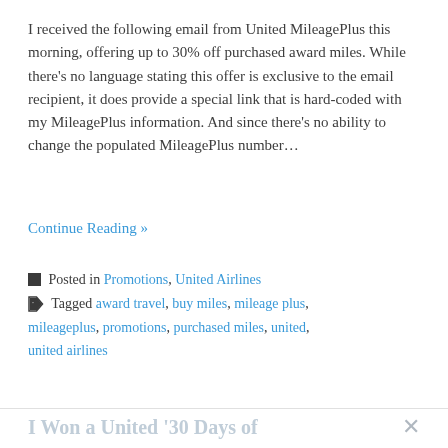I received the following email from United MileagePlus this morning, offering up to 30% off purchased award miles. While there's no language stating this offer is exclusive to the email recipient, it does provide a special link that is hard-coded with my MileagePlus information. And since there's no ability to change the populated MileagePlus number…
Continue Reading »
Posted in Promotions, United Airlines
Tagged award travel, buy miles, mileage plus, mileageplus, promotions, purchased miles, united, united airlines
I Won a United '30 Days of